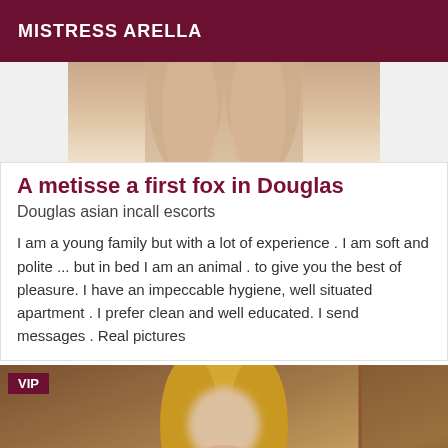MISTRESS ARELLA
[Figure (photo): Partial photo of a person showing legs against a white background, cropped at top]
A metisse a first fox in Douglas
Douglas asian incall escorts
I am a young family but with a lot of experience . I am soft and polite ... but in bed I am an animal . to give you the best of pleasure. I have an impeccable hygiene, well situated apartment . I prefer clean and well educated. I send messages . Real pictures
[Figure (photo): Photo of a blonde woman with blurred face, VIP badge in top-left corner, warm brown/reddish background]